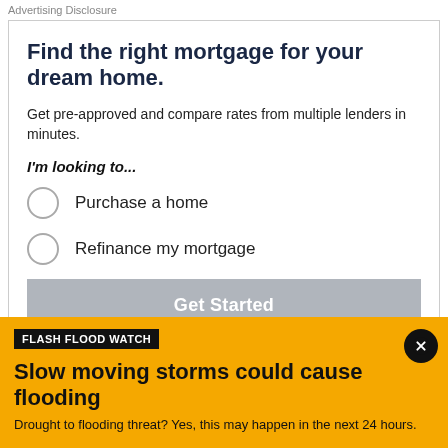Advertising Disclosure
Find the right mortgage for your dream home.
Get pre-approved and compare rates from multiple lenders in minutes.
I'm looking to...
Purchase a home
Refinance my mortgage
Get Started
Powered by credible
FLASH FLOOD WATCH
Slow moving storms could cause flooding
Drought to flooding threat? Yes, this may happen in the next 24 hours.